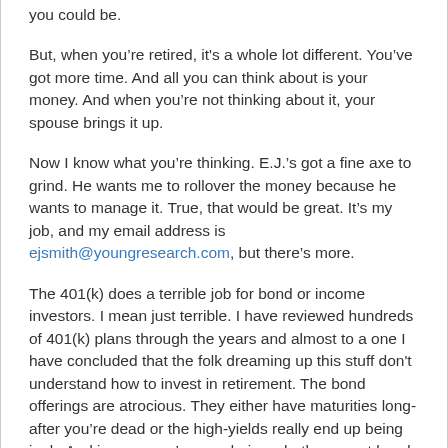you could be.
But, when you’re retired, it’s a whole lot different. You’ve got more time. And all you can think about is your money. And when you’re not thinking about it, your spouse brings it up.
Now I know what you’re thinking. E.J.’s got a fine axe to grind. He wants me to rollover the money because he wants to manage it. True, that would be great. It’s my job, and my email address is ejsmith@youngresearch.com, but there’s more.
The 401(k) does a terrible job for bond or income investors. I mean just terrible. I have reviewed hundreds of 401(k) plans through the years and almost to a one I have concluded that the folk dreaming up this stuff don't understand how to invest in retirement. The bond offerings are atrocious. They either have maturities long-after you’re dead or the high-yields really end up being junk. And in case you’re wondering whether or not bonds are for you,